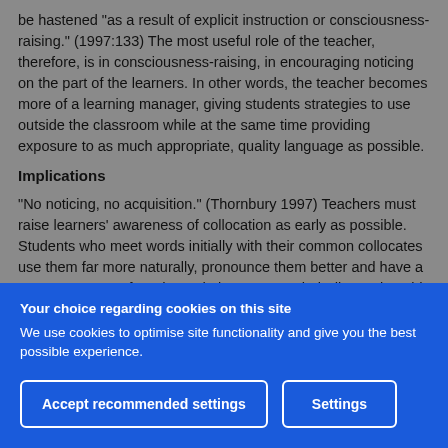be hastened "as a result of explicit instruction or consciousness-raising." (1997:133) The most useful role of the teacher, therefore, is in consciousness-raising, in encouraging noticing on the part of the learners. In other words, the teacher becomes more of a learning manager, giving students strategies to use outside the classroom while at the same time providing exposure to as much appropriate, quality language as possible.
Implications
"No noticing, no acquisition." (Thornbury 1997) Teachers must raise learners' awareness of collocation as early as possible. Students who meet words initially with their common collocates use them far more naturally, pronounce them better and have a greater amount of ready-made language at their disposal to aid
Your choice regarding cookies on this site
We use cookies to optimise site functionality and give you the best possible experience.